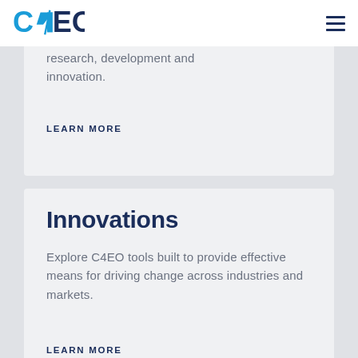C4EO
research, development and innovation.
LEARN MORE
Innovations
Explore C4EO tools built to provide effective means for driving change across industries and markets.
LEARN MORE